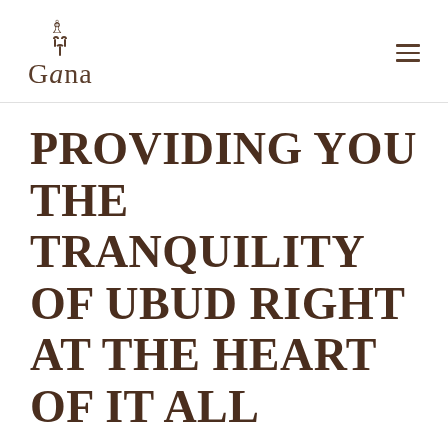Gana
PROVIDING YOU THE TRANQUILITY OF UBUD RIGHT AT THE HEART OF IT ALL
A POP-UP HOTEL BY THE UDAYA RESORTS & SPA, UBUD
Located in the mountains of central Bali,